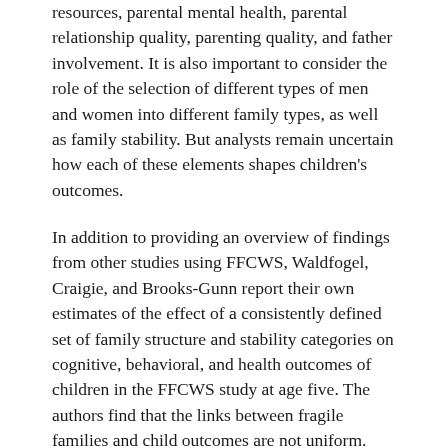resources, parental mental health, parental relationship quality, parenting quality, and father involvement. It is also important to consider the role of the selection of different types of men and women into different family types, as well as family stability. But analysts remain uncertain how each of these elements shapes children's outcomes.
In addition to providing an overview of findings from other studies using FFCWS, Waldfogel, Craigie, and Brooks-Gunn report their own estimates of the effect of a consistently defined set of family structure and stability categories on cognitive, behavioral, and health outcomes of children in the FFCWS study at age five. The authors find that the links between fragile families and child outcomes are not uniform. Family instability, for example, seems to matter more than family structure for cognitive and health outcomes, whereas growing up with a single mother (whether that family structure is stable or unstable over time) seems to matter more than instability for behavioral outcomes. Overall, their...